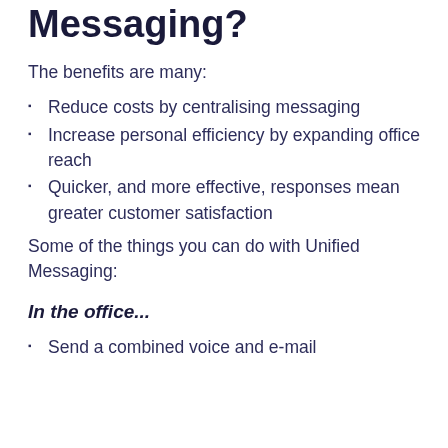Messaging?
The benefits are many:
Reduce costs by centralising messaging
Increase personal efficiency by expanding office reach
Quicker, and more effective, responses mean greater customer satisfaction
Some of the things you can do with Unified Messaging:
In the office...
Send a combined voice and e-mail